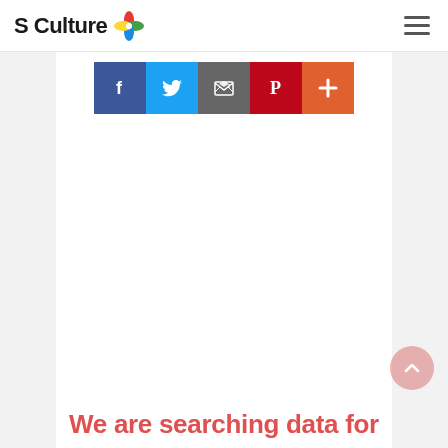S Culture
[Figure (infographic): Five social share buttons: Facebook (blue), Twitter (light blue), Email (gray), Pinterest (dark red), and a plus/more button (orange-red)]
We are searching data for